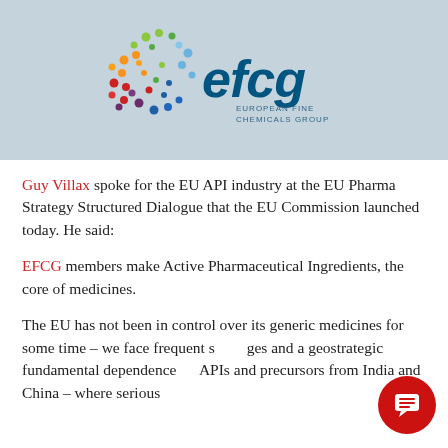[Figure (logo): EFCG European Fine Chemicals Group logo — colorful dot-cluster sphere on left, 'efcg' in large dark teal italic letters on right, 'EUROPEAN FINE CHEMICALS GROUP' in small caps below]
Guy Villax spoke for the EU API industry at the EU Pharma Strategy Structured Dialogue that the EU Commission launched today. He said:
EFCG members make Active Pharmaceutical Ingredients, the core of medicines.
The EU has not been in control over its generic medicines for some time – we face frequent shortages and a geostrategic fundamental dependence on APIs and precursors from India and China – where serious